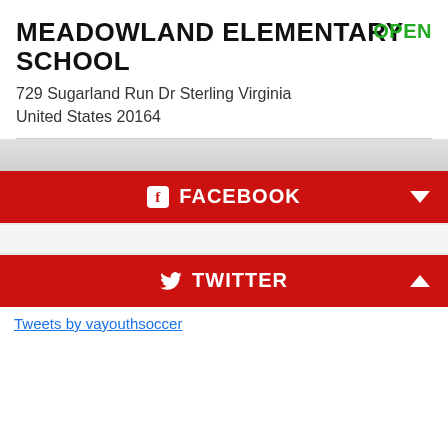MEADOWLAND ELEMENTARY SCHOOL
OPEN
729 Sugarland Run Dr Sterling Virginia United States 20164
FACEBOOK
TWITTER
Tweets by vayouthsoccer